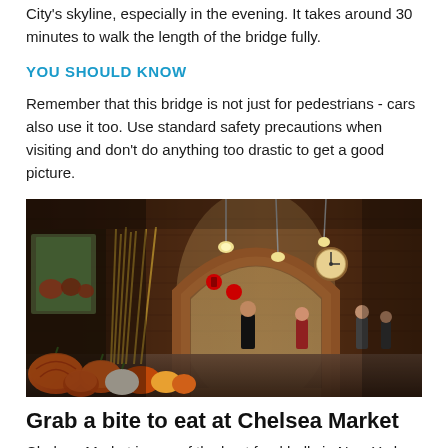City's skyline, especially in the evening. It takes around 30 minutes to walk the length of the bridge fully.
YOU SHOULD KNOW
Remember that this bridge is not just for pedestrians - cars also use it too. Use standard safety precautions when visiting and don't do anything too drastic to get a good picture.
[Figure (photo): Interior of Chelsea Market showing a corridor with brick arches, pumpkins and produce displayed in the foreground, shoppers walking through, pendant lights hanging from the ceiling, and a large clock visible on the wall.]
Grab a bite to eat at Chelsea Market
Chelsea Market is one of the best food halls in New York City. It's also home to some of the city's offices and even a shopping...